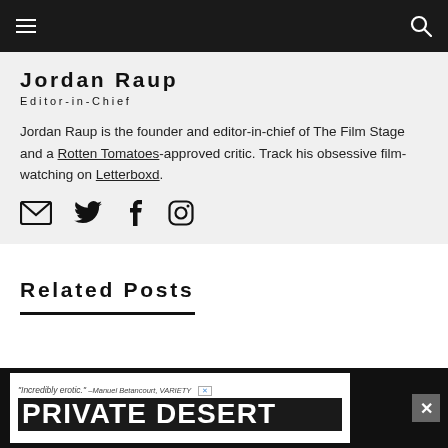Navigation bar with hamburger menu and search icon
Jordan Raup
Editor-in-Chief
Jordan Raup is the founder and editor-in-chief of The Film Stage and a Rotten Tomatoes-approved critic. Track his obsessive film-watching on Letterboxd.
[Figure (infographic): Social media icons: email envelope, Twitter bird, Facebook f, Instagram camera]
Related Posts
[Figure (infographic): Advertisement banner: "Incredibly erotic." -Manuel Betancourt, VARIETY | PRIVATE DESERT with close button]